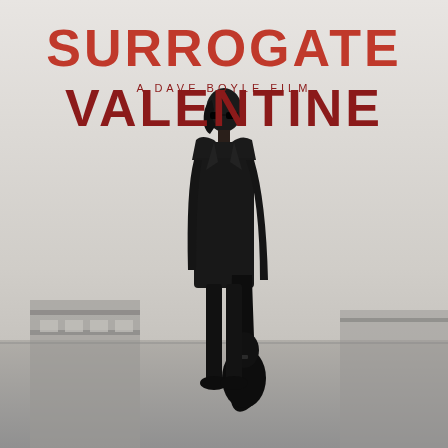SURROGATE VALENTINE
A DAVE BOYLE FILM
[Figure (photo): Black and white photo of a man in dark clothing and sunglasses, standing on a street and holding a guitar case at his side, viewed from the side, with urban buildings visible in the background. The image has a high-key, washed-out gray sky background.]